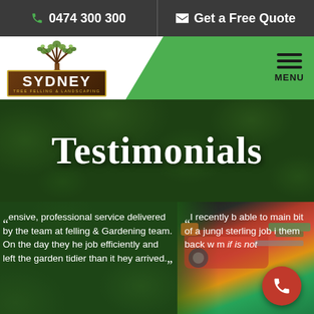0474 300 300 | Get a Free Quote
[Figure (logo): Sydney Tree Felling & Landscaping logo with tree illustration and text]
Testimonials
ensive, professional service delivered by the team at felling & Gardening team. On the day they he job efficiently and left the garden tidier than it hey arrived.
I recently b able to main bit of a jungl sterling job i them back w m if is not